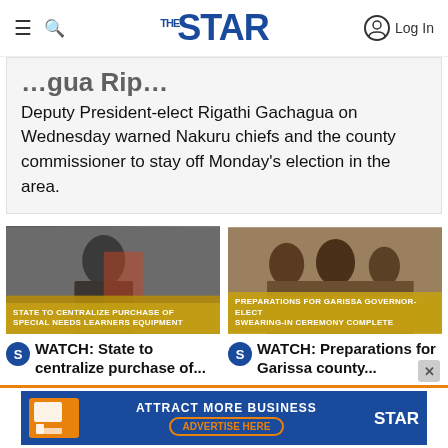THE STAR | Log In
Deputy President-elect Rigathi Gachagua on Wednesday warned Nakuru chiefs and the county commissioner to stay off Monday's election in the area.
[Figure (photo): Photo of a man in suit wiping face with hand, with text overlay: STATE TO CENTRALIZE PURCHASE OF SPECIAL NEEDS LEARNERS EQUIPMENT]
[Figure (photo): Photo of group of men standing together, with text overlay: PREPARATIONS FOR GARISSA GOVERNOR-ELECT SWEARING-IN CEREMONY COMPLETE]
WATCH: State to centralize purchase of...
WATCH: Preparations for Garissa county...
ATTRACT MORE BUSINESS ADVERTISE HERE STAR